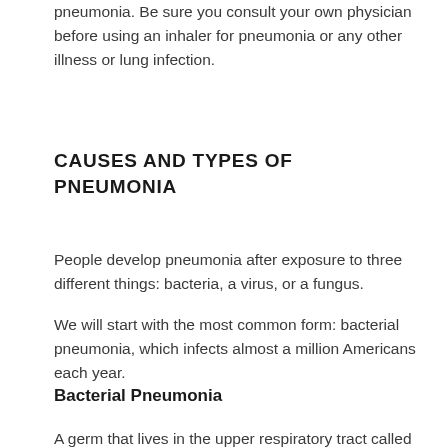pneumonia. Be sure you consult your own physician before using an inhaler for pneumonia or any other illness or lung infection.
CAUSES AND TYPES OF PNEUMONIA
People develop pneumonia after exposure to three different things: bacteria, a virus, or a fungus.
We will start with the most common form: bacterial pneumonia, which infects almost a million Americans each year.
Bacterial Pneumonia
A germ that lives in the upper respiratory tract called